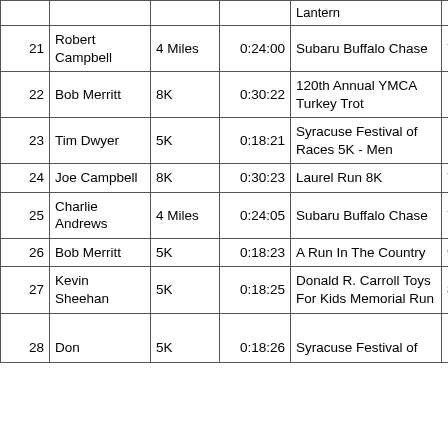| # | Name | Distance | Time | Race | Date |
| --- | --- | --- | --- | --- | --- |
| 21 | Robert Campbell | 4 Miles | 0:24:00 | Subaru Buffalo Chase | 7/17/20... |
| 22 | Bob Merritt | 8K | 0:30:22 | 120th Annual YMCA Turkey Trot | 11/26/20... |
| 23 | Tim Dwyer | 5K | 0:18:21 | Syracuse Festival of Races 5K - Men | 10/4/20... |
| 24 | Joe Campbell | 8K | 0:30:23 | Laurel Run 8K | 7/18/20... |
| 25 | Charlie Andrews | 4 Miles | 0:24:05 | Subaru Buffalo Chase | 7/17/20... |
| 26 | Bob Merritt | 5K | 0:18:23 | A Run In The Country | 9/26/20... |
| 27 | Kevin Sheehan | 5K | 0:18:25 | Donald R. Carroll Toys For Kids Memorial Run | 8/15/20... |
| 28 | Don | 5K | 0:18:26 | Syracuse Festival of | 10/4/20... |